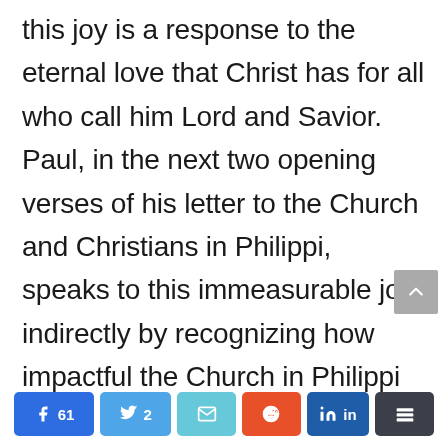this joy is a response to the eternal love that Christ has for all who call him Lord and Savior. Paul, in the next two opening verses of his letter to the Church and Christians in Philippi, speaks to this immeasurable joy indirectly by recognizing how impactful the Church in Philippi
[Figure (other): Social share buttons: Facebook (61), Twitter (2), Email, Reddit, LinkedIn, More]